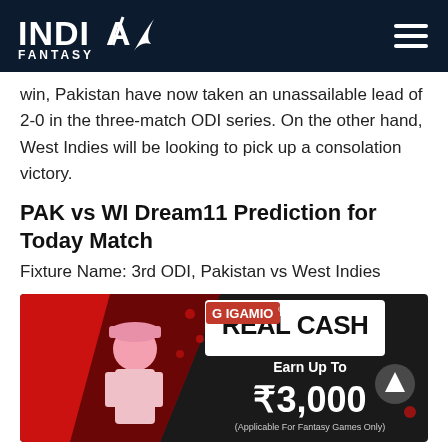India Fantasy
win, Pakistan have now taken an unassailable lead of 2-0 in the three-match ODI series. On the other hand, West Indies will be looking to pick up a consolation victory.
PAK vs WI Dream11 Prediction for Today Match
Fixture Name: 3rd ODI, Pakistan vs West Indies
[Figure (photo): Gigamio advertisement banner showing a woman with text 'REAL CASH Earn Up To ₹3,000 (Applicable For Fantasy Games Only)']